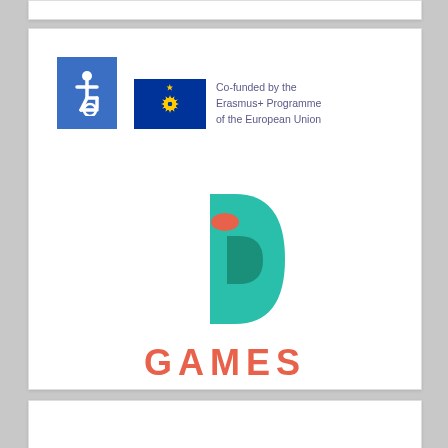[Figure (logo): Wheelchair accessibility icon - white figure on blue background]
[Figure (logo): EU flag with Erasmus+ Programme co-funding text: Co-funded by the Erasmus+ Programme of the European Union]
[Figure (logo): iD GAMES logo - teal D shape with darker teal inner D and coral/salmon oval dot, with GAMES text in coral/salmon below]